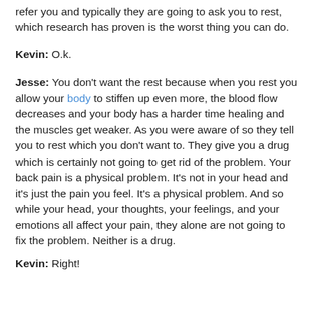refer you and typically they are going to ask you to rest, which research has proven is the worst thing you can do.
Kevin: O.k.
Jesse: You don't want the rest because when you rest you allow your body to stiffen up even more, the blood flow decreases and your body has a harder time healing and the muscles get weaker. As you were aware of so they tell you to rest which you don't want to. They give you a drug which is certainly not going to get rid of the problem. Your back pain is a physical problem. It's not in your head and it's just the pain you feel. It's a physical problem. And so while your head, your thoughts, your feelings, and your emotions all affect your pain, they alone are not going to fix the problem. Neither is a drug.
Kevin: Right!